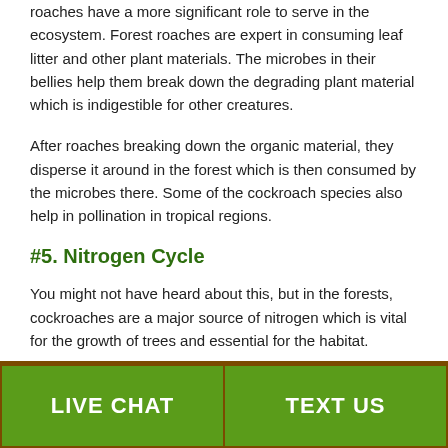roaches have a more significant role to serve in the ecosystem. Forest roaches are expert in consuming leaf litter and other plant materials. The microbes in their bellies help them break down the degrading plant material which is indigestible for other creatures.
After roaches breaking down the organic material, they disperse it around in the forest which is then consumed by the microbes there. Some of the cockroach species also help in pollination in tropical regions.
#5. Nitrogen Cycle
You might not have heard about this, but in the forests, cockroaches are a major source of nitrogen which is vital for the growth of trees and essential for the habitat.
LIVE CHAT | TEXT US